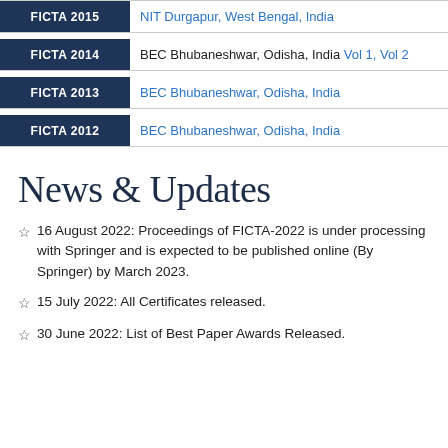| Conference | Venue |
| --- | --- |
| FICTA 2015 | NIT Durgapur, West Bengal, India |
| FICTA 2014 | BEC Bhubaneshwar, Odisha, India Vol 1, Vol 2 |
| FICTA 2013 | BEC Bhubaneshwar, Odisha, India |
| FICTA 2012 | BEC Bhubaneshwar, Odisha, India |
News & Updates
16 August 2022: Proceedings of FICTA-2022 is under processing with Springer and is expected to be published online (By Springer) by March 2023.
15 July 2022: All Certificates released.
30 June 2022: List of Best Paper Awards Released.